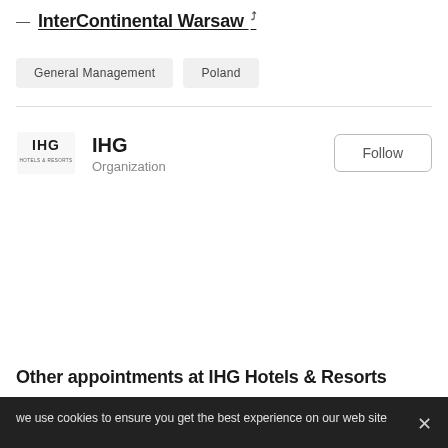InterContinental Warsaw
General Management
Poland
[Figure (logo): IHG Hotels & Resorts logo]
IHG
Organization
Follow
Other appointments at IHG Hotels & Resorts
we use cookies to ensure you get the best experience on our website